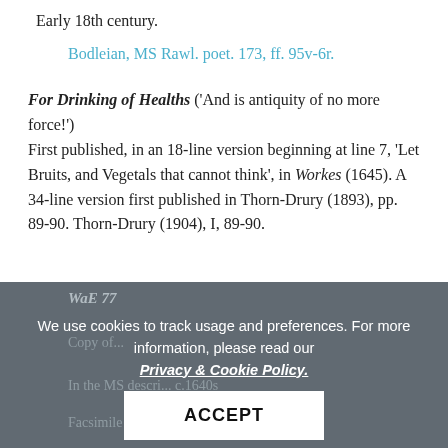Early 18th century.
Bodleian, MS Rawl. poet. 173, ff. 95v-6r.
For Drinking of Healths ('And is antiquity of no more force!')
First published, in an 18-line version beginning at line 7, 'Let Bruits, and Vegetals that cannot think', in Workes (1645). A 34-line version first published in Thorn-Drury (1893), pp. 89-90. Thorn-Drury (1904), I, 89-90.
WaE 77
We use cookies to track usage and preferences. For more information, please read our Privacy & Cookie Policy.
ACCEPT
Copy of...
In the MS descri... c.1640s
Facsimile of this MS in Poems 1645 (1971).